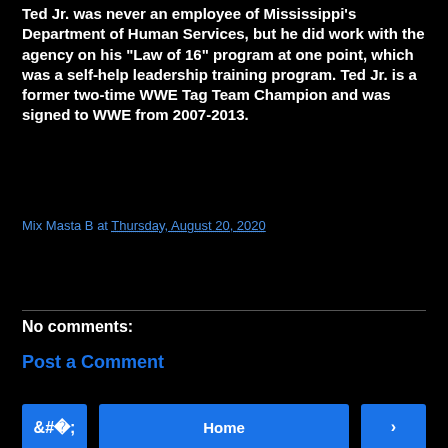Ted Jr. was never an employee of Mississippi's Department of Human Services, but he did work with the agency on his "Law of 16" program at one point, which was a self-help leadership training program. Ted Jr. is a former two-time WWE Tag Team Champion and was signed to WWE from 2007-2013.
Mix Masta B at Thursday, August 20, 2020
Share
No comments:
Post a Comment
‹
Home
›
View web version
Powered by Blogger.